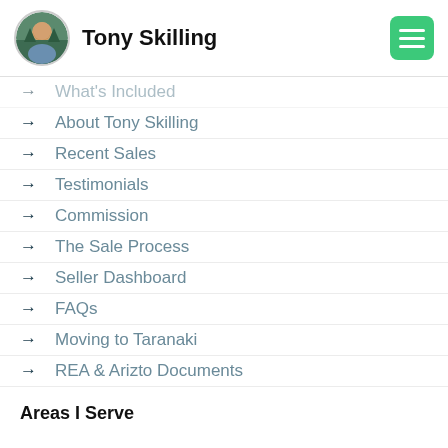Tony Skilling
What's Included
About Tony Skilling
Recent Sales
Testimonials
Commission
The Sale Process
Seller Dashboard
FAQs
Moving to Taranaki
REA & Arizto Documents
Areas I Serve